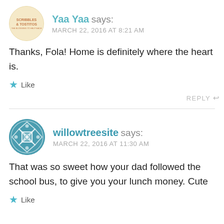Yaa Yaa says: MARCH 22, 2016 AT 8:21 AM
Thanks, Fola! Home is definitely where the heart is.
★ Like
REPLY ↩
willowtreesite says: MARCH 22, 2016 AT 11:30 AM
That was so sweet how your dad followed the school bus, to give you your lunch money. Cute
★ Like